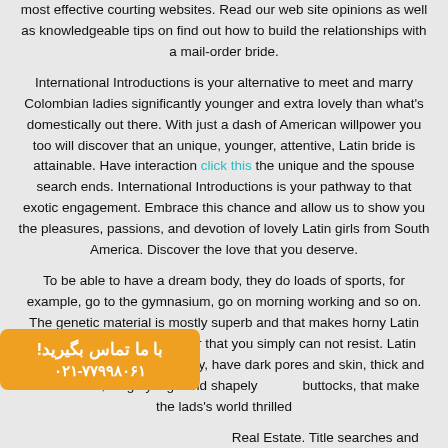most effective courting websites. Read our web site opinions as well as knowledgeable tips on find out how to build the relationships with a mail-order bride.
International Introductions is your alternative to meet and marry Colombian ladies significantly younger and extra lovely than what's domestically out there. With just a dash of American willpower you too will discover that an unique, younger, attentive, Latin bride is attainable. Have interaction click this the unique and the spouse search ends. International Introductions is your pathway to that exotic engagement. Embrace this chance and allow us to show you the pleasures, passions, and devotion of lovely Latin girls from South America. Discover the love that you deserve.
To be able to have a dream body, they do loads of sports, for example, go to the gymnasium, go on morning working and so on. The genetic material is mostly superb and that makes horny Latin brides an actual eye-catcher that you simply can not resist. Latin women are very female, pretty, have dark pores and skin, thick and lustrous hair, lengthy legs and shapely buttocks, that make the lads's world thrilled
Colombia Real Estate. Title searches and study of title documents. An American buying property in Colombia will all the time be overcharged, as much as two to 3 occasions